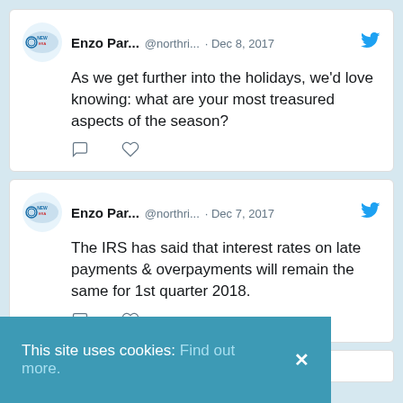[Figure (screenshot): Tweet card 1: Enzo Par... @northri... Dec 8, 2017 - As we get further into the holidays, we'd love knowing: what are your most treasured aspects of the season?]
[Figure (screenshot): Tweet card 2: Enzo Par... @northri... Dec 7, 2017 - The IRS has said that interest rates on late payments & overpayments will remain the same for 1st quarter 2018.]
[Figure (screenshot): Search bar with placeholder text 'Search']
This site uses cookies: Find out more.